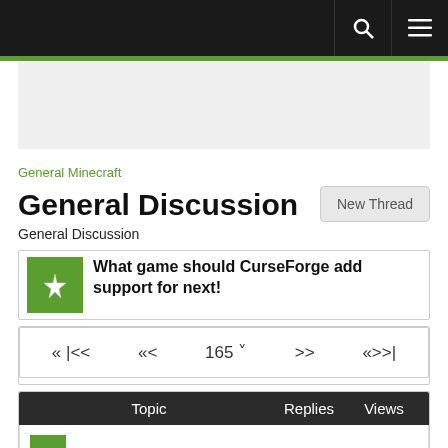Navigation bar with search and menu icons
General Minecraft
General Discussion
General Discussion
What game should CurseForge add support for next!
« |<<   «<   165˅   >>   «>>|
| Topic | Replies | Views |
| --- | --- | --- |
| How to Build a Sports Car |  |  |
How to Build a Sports Car